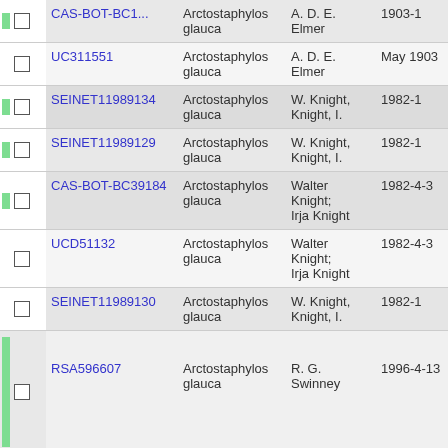|  | ID | Species | Collector | Date | Num |
| --- | --- | --- | --- | --- | --- |
|  | CAS-BOT-BC11... | Arctostaphylos glauca | A. D. E. Elmer | 1903-1 | 45... |
|  | UC311551 | Arctostaphylos glauca | A. D. E. Elmer | May 1903 | 45... |
|  | SEINET11989134 | Arctostaphylos glauca | W. Knight, Knight, I. | 1982-1 | 45... |
|  | SEINET11989129 | Arctostaphylos glauca | W. Knight, Knight, I. | 1982-1 | 45... |
|  | CAS-BOT-BC39184 | Arctostaphylos glauca | Walter Knight; Irja Knight | 1982-4-3 | 45... |
|  | UCD51132 | Arctostaphylos glauca | Walter Knight; Irja Knight | 1982-4-3 | 45... |
|  | SEINET11989130 | Arctostaphylos glauca | W. Knight, Knight, I. | 1982-1 | 45... |
|  | RSA596607 | Arctostaphylos glauca | R. G. Swinney | 1996-4-13 | 45... |
|  | UCR98581 | Arctostaphylos glauca | R. G. Swinney | 1996-4-13 | 45... |